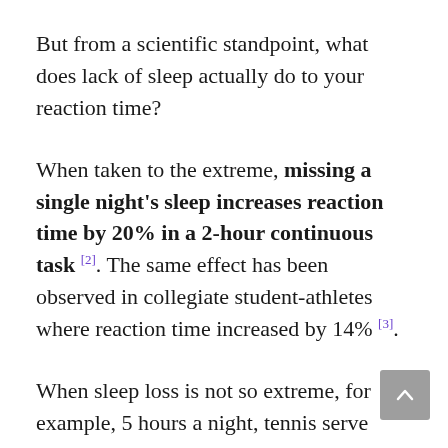But from a scientific standpoint, what does lack of sleep actually do to your reaction time?
When taken to the extreme, missing a single night's sleep increases reaction time by 20% in a 2-hour continuous task [2]. The same effect has been observed in collegiate student-athletes where reaction time increased by 14% [3].
When sleep loss is not so extreme, for example, 5 hours a night, tennis serve accuracy was shown to decrease compared